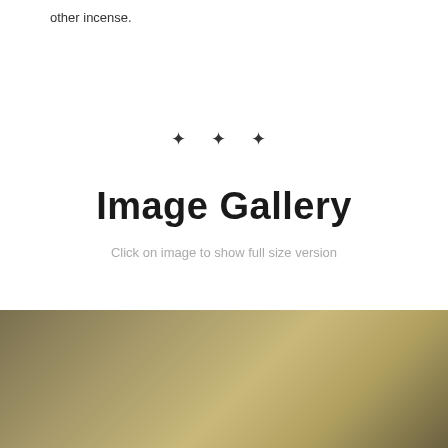other incense.
✦ ✦ ✦
Image Gallery
Click on image to show full size version
[Figure (photo): Blurred golden/tan colored background photo, possibly incense or product image]